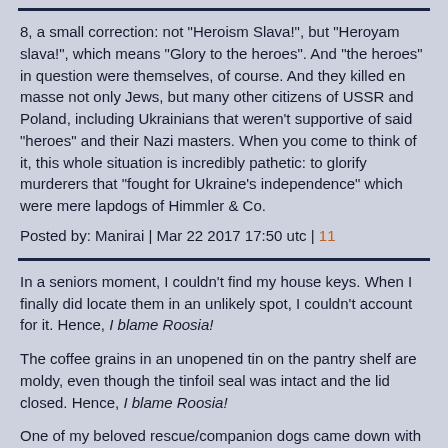8, a small correction: not "Heroism Slava!", but "Heroyam slava!", which means "Glory to the heroes". And "the heroes" in question were themselves, of course. And they killed en masse not only Jews, but many other citizens of USSR and Poland, including Ukrainians that weren't supportive of said "heroes" and their Nazi masters. When you come to think of it, this whole situation is incredibly pathetic: to glorify murderers that "fought for Ukraine's independence" which were mere lapdogs of Himmler & Co.
Posted by: Manirai | Mar 22 2017 17:50 utc | 11
In a seniors moment, I couldn't find my house keys. When I finally did locate them in an unlikely spot, I couldn't account for it. Hence, I blame Roosia!
The coffee grains in an unopened tin on the pantry shelf are moldy, even though the tinfoil seal was intact and the lid closed. Hence, I blame Roosia!
One of my beloved rescue/companion dogs came down with severe breathing difficulties, that suddenly went away, upon examination the Vet had no explanation. Hence, I blame Roosia!